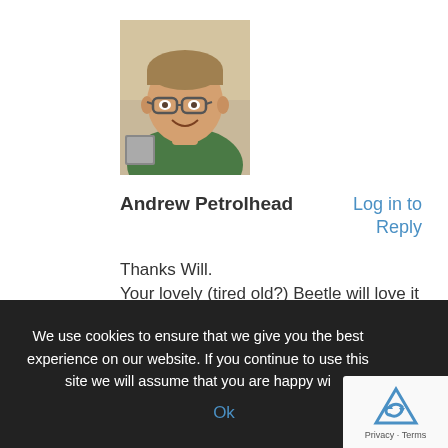[Figure (photo): Profile photo of a middle-aged man wearing glasses and a green shirt, smiling, with a light background]
Andrew Petrolhead
Log in to Reply
Thanks Will.
Your lovely (tired old?) Beetle will love it up there. Not much traffic, great views and I don't recall any particularly steep climbs! Please send us some photos when you're there.
Cheers, A.
We use cookies to ensure that we give you the best experience on our website. If you continue to use this site we will assume that you are happy wi
Ok